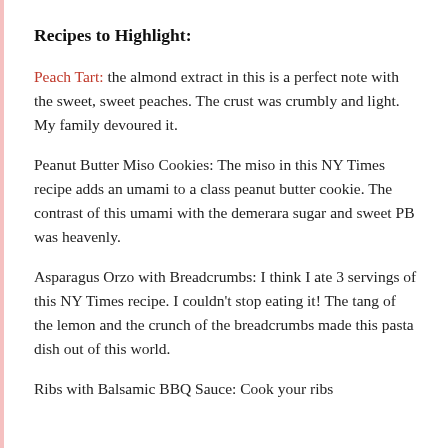Recipes to Highlight:
Peach Tart: the almond extract in this is a perfect note with the sweet, sweet peaches. The crust was crumbly and light. My family devoured it.
Peanut Butter Miso Cookies: The miso in this NY Times recipe adds an umami to a class peanut butter cookie. The contrast of this umami with the demerara sugar and sweet PB was heavenly.
Asparagus Orzo with Breadcrumbs: I think I ate 3 servings of this NY Times recipe. I couldn’t stop eating it! The tang of the lemon and the crunch of the breadcrumbs made this pasta dish out of this world.
Ribs with Balsamic BBQ Sauce: Cook your ribs low...